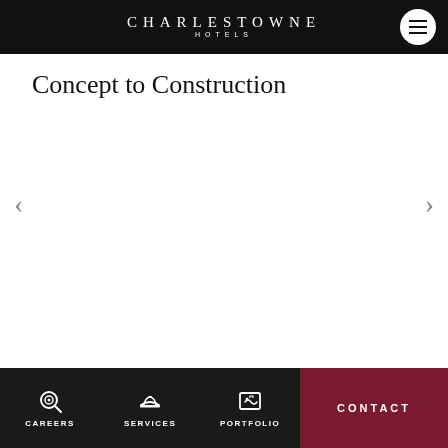CHARLESTOWNE HOTELS
Concept to Construction
CAREERS   SERVICES   PORTFOLIO   CONTACT